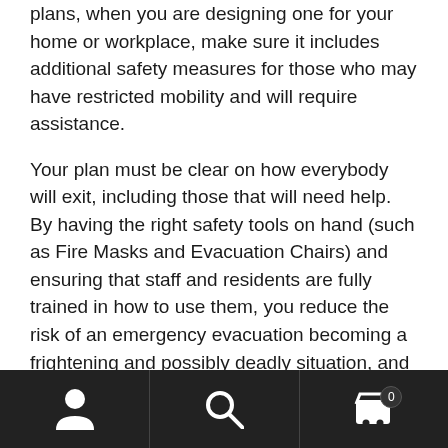plans, when you are designing one for your home or workplace, make sure it includes additional safety measures for those who may have restricted mobility and will require assistance.

Your plan must be clear on how everybody will exit, including those that will need help. By having the right safety tools on hand (such as Fire Masks and Evacuation Chairs) and ensuring that staff and residents are fully trained in how to use them, you reduce the risk of an emergency evacuation becoming a frightening and possibly deadly situation, and greatly improve the chance of every single person within the premises getting out safely.
navigation bar with person icon, search icon, and cart icon with badge 0